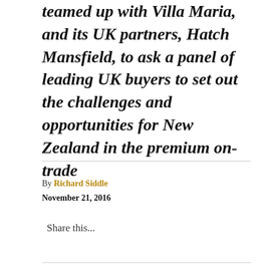teamed up with Villa Maria, and its UK partners, Hatch Mansfield, to ask a panel of leading UK buyers to set out the challenges and opportunities for New Zealand in the premium on-trade
By Richard Siddle
November 21, 2016
Share this...